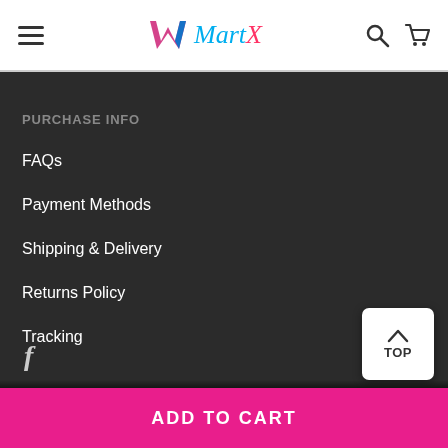MartX — navigation header with hamburger menu, logo, search and cart icons
PURCHASE INFO
FAQs
Payment Methods
Shipping & Delivery
Returns Policy
Tracking
f (Facebook icon)
TOP
ADD TO CART